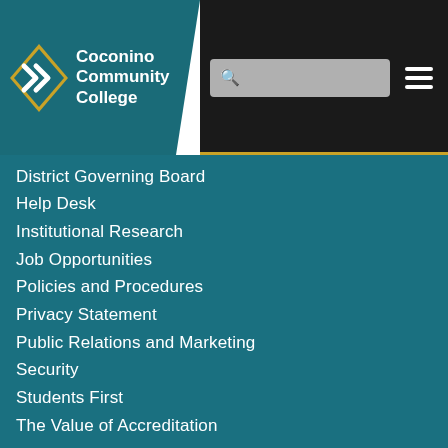[Figure (logo): Coconino Community College logo with chevron/arrow icon and white text on teal background]
District Governing Board
Help Desk
Institutional Research
Job Opportunities
Policies and Procedures
Privacy Statement
Public Relations and Marketing
Security
Students First
The Value of Accreditation